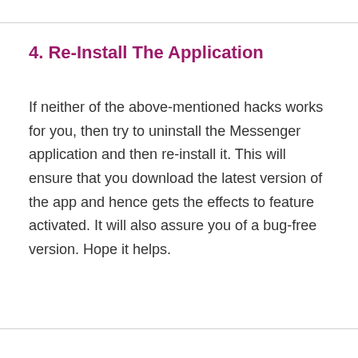4. Re-Install The Application
If neither of the above-mentioned hacks works for you, then try to uninstall the Messenger application and then re-install it. This will ensure that you download the latest version of the app and hence gets the effects to feature activated. It will also assure you of a bug-free version. Hope it helps.